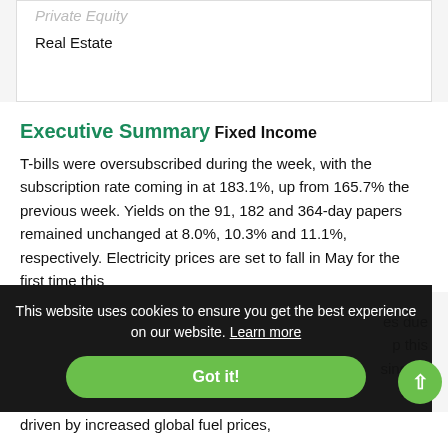| Private Equity |
| Real Estate |
Executive Summary
Fixed Income
T-bills were oversubscribed during the week, with the subscription rate coming in at 183.1%, up from 165.7% the previous week. Yields on the 91, 182 and 364-day papers remained unchanged at 8.0%, 10.3% and 11.1%, respectively. Electricity prices are set to fall in May for the first time this [year, with prices due to go] [up this ...] [closing by ...72.2 ...] driven by increased global fuel prices,
This website uses cookies to ensure you get the best experience on our website. Learn more
Got it!